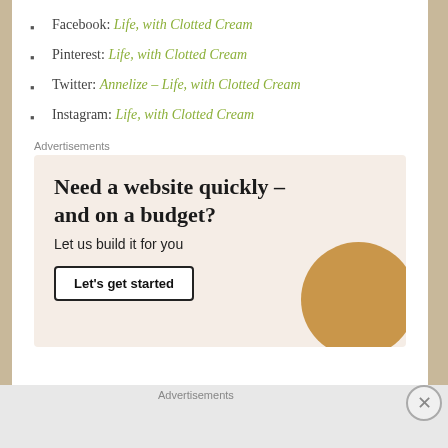Facebook: Life, with Clotted Cream
Pinterest: Life, with Clotted Cream
Twitter: Annelize – Life, with Clotted Cream
Instagram: Life, with Clotted Cream
Advertisements
[Figure (infographic): Advertisement: Need a website quickly – and on a budget? Let us build it for you. Button: Let's get started]
Advertisements
[Figure (infographic): DuckDuckGo advertisement: Search, browse, and email with more privacy. All in One Free App]